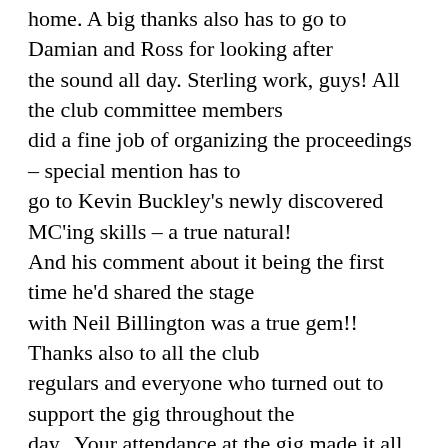home. A big thanks also has to go to Damian and Ross for looking after the sound all day. Sterling work, guys! All the club committee members did a fine job of organizing the proceedings – special mention has to go to Kevin Buckley's newly discovered MC'ing skills – a true natural! And his comment about it being the first time he'd shared the stage with Neil Billington was a true gem!!  Thanks also to all the club regulars and everyone who turned out to support the gig throughout the day.  Your attendance at the gig made it all worthwhile.